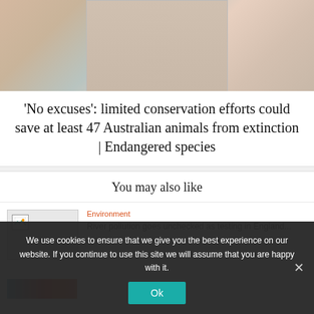[Figure (photo): Blurred background photo, partially visible article hero image with soft warm tones]
'No excuses': limited conservation efforts could save at least 47 Australian animals from extinction | Endangered species
You may also like
[Figure (photo): Broken/loading image thumbnail for related article]
Environment
River pollution goes unchecked as testing in England...
We use cookies to ensure that we give you the best experience on our website. If you continue to use this site we will assume that you are happy with it.